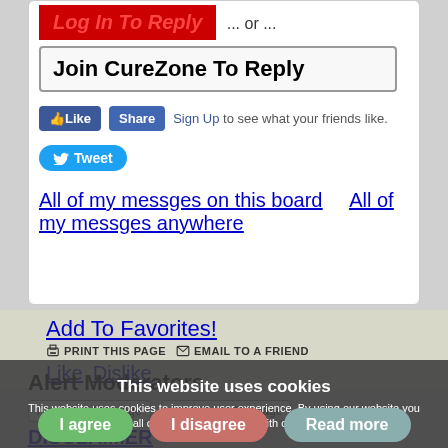Log In To Reply ... or ...
Join CureZone To Reply
[Figure (screenshot): Facebook Like and Share buttons with Sign Up text, and a Tweet button]
All of my messges on this board    All of my messges anywhere
Add To Favorites!
PRINT THIS PAGE    EMAIL TO A FRIEND
Like    Dislike
Alert Moderators
Alert: Bad Message    Alert: Good Message
DISCLAIMER
This website uses cookies
This website uses cookies to improve user experience. By using our website you consent to all cookies in accordance with our Cookie Policy.
I agree    I disagree    Read more